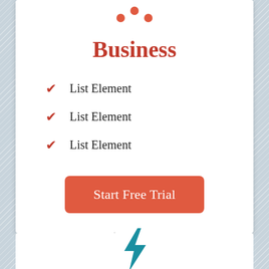[Figure (other): Three red dots in a triangular pattern at the top of the business pricing card]
Business
List Element
List Element
List Element
Start Free Trial
$99/mo
[Figure (illustration): Blue lightning bolt icon at the bottom of the page, top of next pricing card]